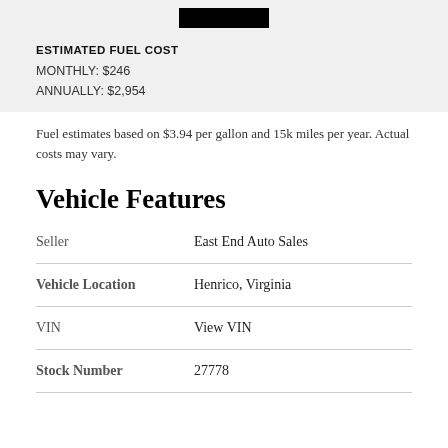[Figure (other): Redacted black bar at top of page]
ESTIMATED FUEL COST
MONTHLY: $246
ANNUALLY: $2,954
Fuel estimates based on $3.94 per gallon and 15k miles per year. Actual costs may vary.
Vehicle Features
|  |  |
| --- | --- |
| Seller | East End Auto Sales |
| Vehicle Location | Henrico, Virginia |
| VIN | View VIN |
| Stock Number | 27778 |